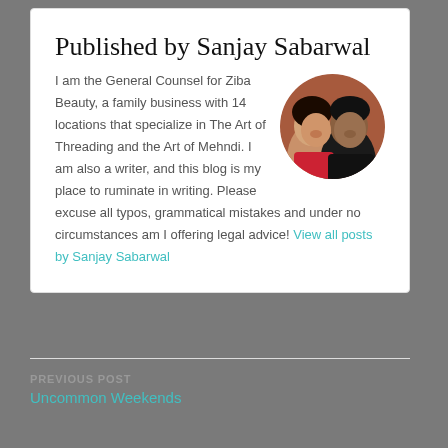Published by Sanjay Sabarwal
[Figure (photo): Circular profile photo of a man and woman together, smiling]
I am the General Counsel for Ziba Beauty, a family business with 14 locations that specialize in The Art of Threading and the Art of Mehndi. I am also a writer, and this blog is my place to ruminate in writing. Please excuse all typos, grammatical mistakes and under no circumstances am I offering legal advice! View all posts by Sanjay Sabarwal
PREVIOUS POST
Uncommon Weekends